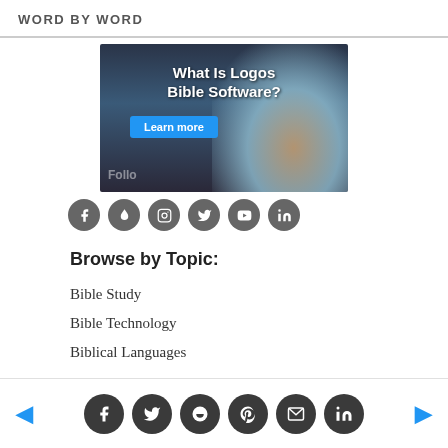WORD BY WORD
[Figure (screenshot): Ad banner for Logos Bible Software with text 'What Is Logos Bible Software?' and a 'Learn more' button, showing a person at a laptop in the background.]
[Figure (infographic): Row of 6 social media icon circles: Facebook, Logos flame, Instagram, Twitter, YouTube, LinkedIn]
Browse by Topic:
Bible Study
Bible Technology
Biblical Languages
Social share buttons: Facebook, Twitter, Reddit, Pinterest, Email, LinkedIn with left/right navigation arrows